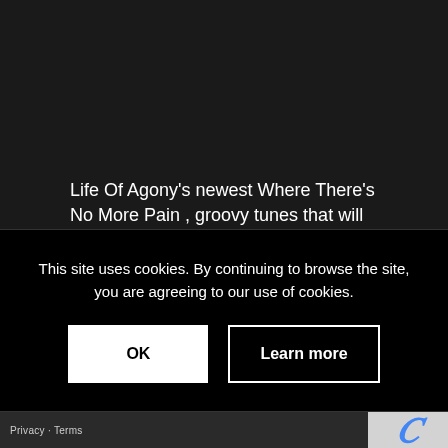Life Of Agony's newest Where There's No More Pain , groovy tunes that will blow you away
Read more
19/05/2017  /  BY TOM
This site uses cookies. By continuing to browse the site, you are agreeing to our use of cookies.
OK  Learn more
Privacy · Terms